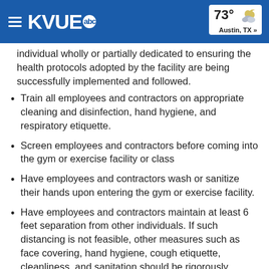KVUE abc | 73° Austin, TX »
individual wholly or partially dedicated to ensuring the health protocols adopted by the facility are being successfully implemented and followed.
Train all employees and contractors on appropriate cleaning and disinfection, hand hygiene, and respiratory etiquette.
Screen employees and contractors before coming into the gym or exercise facility or class
Have employees and contractors wash or sanitize their hands upon entering the gym or exercise facility.
Have employees and contractors maintain at least 6 feet separation from other individuals. If such distancing is not feasible, other measures such as face covering, hand hygiene, cough etiquette, cleanliness, and sanitation should be rigorously practiced.
If a gym or exercise facility or class provides a meal for employees and/or contractors, the gym or exercise facility is recommended to have the meal individually packed for each individual.